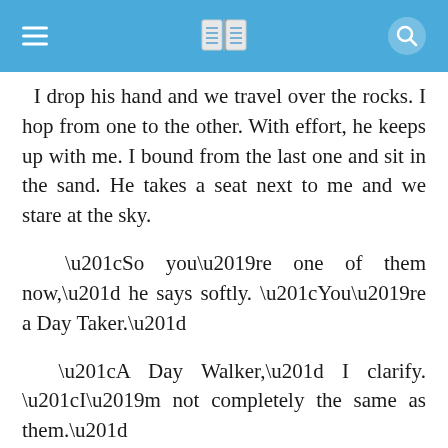≡  📖  🔍
I drop his hand and we travel over the rocks. I hop from one to the other. With effort, he keeps up with me. I bound from the last one and sit in the sand. He takes a seat next to me and we stare at the sky.
“So you’re one of them now,” he says softly. “You’re a Day Taker.”
“A Day Walker,” I clarify. “I’m not completely the same as them.”
He hesitates. “Why did you do it, Juniper? Why did you have to change?”